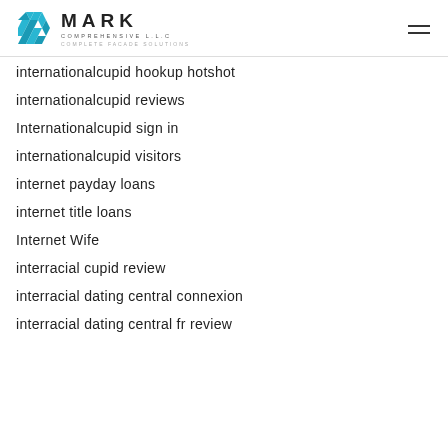MARK COMPREHENSIVE L.L.C — COMPLETE FACADE SOLUTIONS
internationalcupid hookup hotshot
internationalcupid reviews
Internationalcupid sign in
internationalcupid visitors
internet payday loans
internet title loans
Internet Wife
interracial cupid review
interracial dating central connexion
interracial dating central fr review